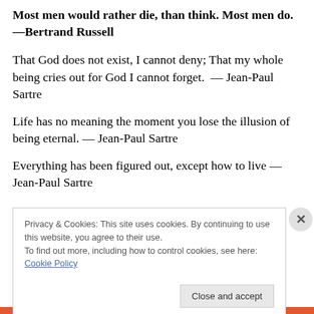Most men would rather die, than think. Most men do. —Bertrand Russell
That God does not exist, I cannot deny; That my whole being cries out for God I cannot forget.  — Jean-Paul Sartre
Life has no meaning the moment you lose the illusion of being eternal. — Jean-Paul Sartre
Everything has been figured out, except how to live — Jean-Paul Sartre
Privacy & Cookies: This site uses cookies. By continuing to use this website, you agree to their use.
To find out more, including how to control cookies, see here: Cookie Policy
Close and accept